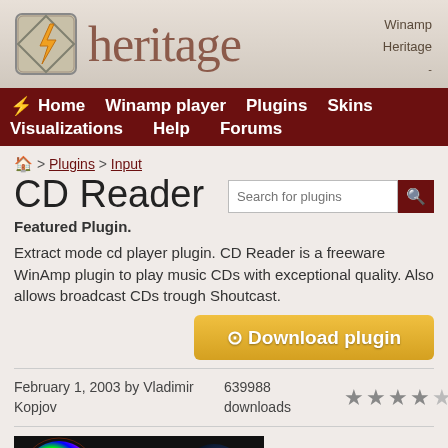heritage — Winamp Heritage
Home  Winamp player  Plugins  Skins  Visualizations  Help  Forums
🏠 > Plugins > Input
CD Reader
Featured Plugin.
Extract mode cd player plugin. CD Reader is a freeware WinAmp plugin to play music CDs with exceptional quality. Also allows broadcast CDs trough Shoutcast.
⊙ Download plugin
February 1, 2003 by Vladimir Kopjov   639988 downloads   ★★★★½
[Figure (screenshot): CD Reader plugin promotional image with colorful CD and red text reading 'CD Reader plugin' on dark background]